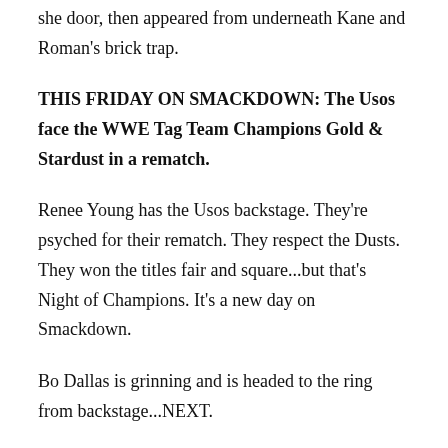she door, then appeared from underneath Kane and Roman's brick trap.
THIS FRIDAY ON SMACKDOWN: The Usos face the WWE Tag Team Champions Gold & Stardust in a rematch.
Renee Young has the Usos backstage. They're psyched for their rematch. They respect the Dusts. They won the titles fair and square...but that's Night of Champions. It's a new day on Smackdown.
Bo Dallas is grinning and is headed to the ring from backstage...NEXT.
Before the match, Bo has a mic and says that he had no idea Kofi still worked here. Instead of saying "Boom, boom, boom" Kofi should say "Bo! Bo! Bo!"